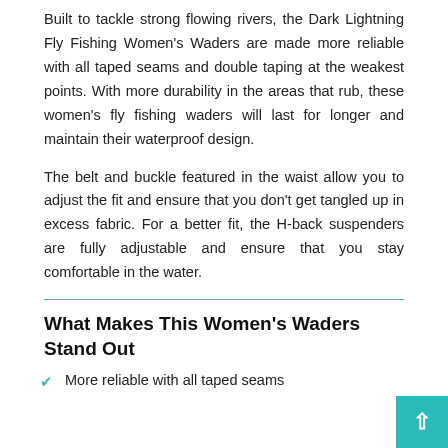Built to tackle strong flowing rivers, the Dark Lightning Fly Fishing Women's Waders are made more reliable with all taped seams and double taping at the weakest points. With more durability in the areas that rub, these women's fly fishing waders will last for longer and maintain their waterproof design.
The belt and buckle featured in the waist allow you to adjust the fit and ensure that you don't get tangled up in excess fabric. For a better fit, the H-back suspenders are fully adjustable and ensure that you stay comfortable in the water.
What Makes This Women's Waders Stand Out
More reliable with all taped seams